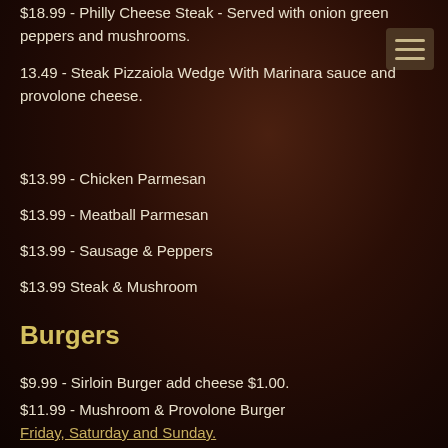$18.99 - Philly Cheese Steak - Served with onion green peppers and mushrooms.
13.49 - Steak Pizzaiola Wedge With Marinara sauce and provolone cheese.
$13.99 - Chicken Parmesan
$13.99 - Meatball Parmesan
$13.99 - Sausage & Peppers
$13.99 Steak & Mushroom
Burgers
$9.99 - Sirloin Burger add cheese $1.00.
$11.99 - Mushroom & Provolone Burger
Friday, Saturday and Sunday.